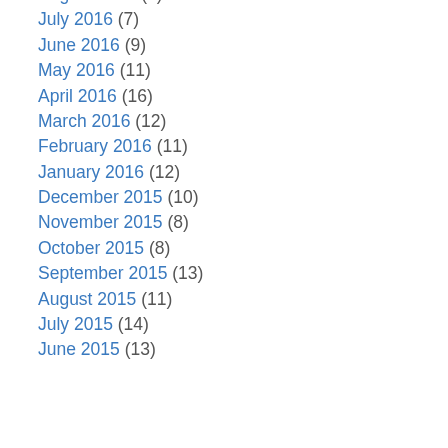August 2016 (9)
July 2016 (7)
June 2016 (9)
May 2016 (11)
April 2016 (16)
March 2016 (12)
February 2016 (11)
January 2016 (12)
December 2015 (10)
November 2015 (8)
October 2015 (8)
September 2015 (13)
August 2015 (11)
July 2015 (14)
June 2015 (13)